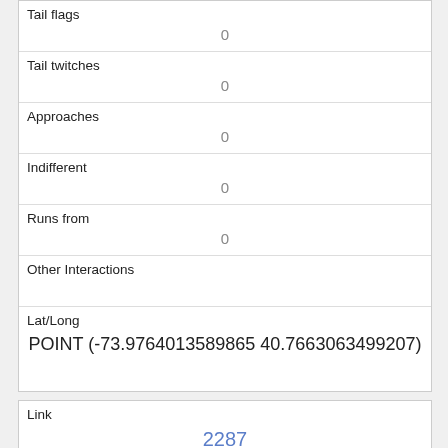| Tail flags | 0 |
| Tail twitches | 0 |
| Approaches | 0 |
| Indifferent | 0 |
| Runs from | 0 |
| Other Interactions |  |
| Lat/Long | POINT (-73.9764013589865 40.7663063499207) |
| Link | 2287 |
| rowid | 2287 |
| longitude | -73.97681733031649 |